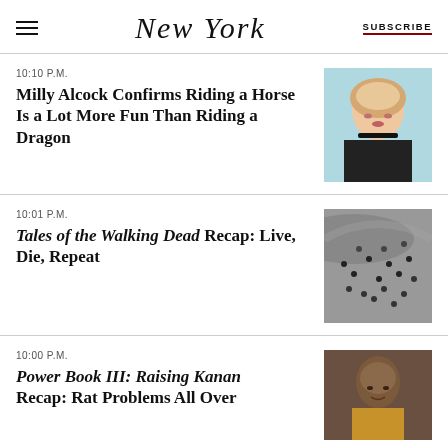NEW YORK | SUBSCRIBE
10:10 P.M.
Milly Alcock Confirms Riding a Horse Is a Lot More Fun Than Riding a Dragon
[Figure (photo): Blonde woman with bob haircut wearing black dress]
10:01 P.M.
Tales of the Walking Dead Recap: Live, Die, Repeat
[Figure (photo): Aerial view of crowd of people on steps]
10:00 P.M.
Power Book III: Raising Kanan Recap: Rat Problems All Over